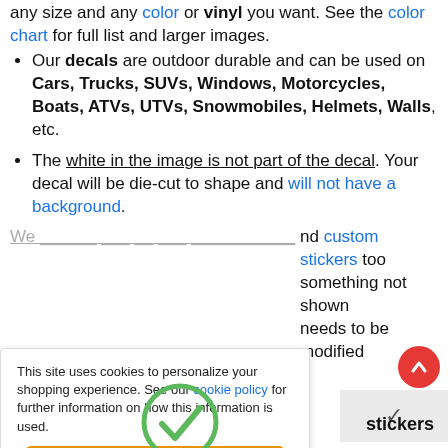any size and any color or vinyl you want. See the color chart for full list and larger images.
Our decals are outdoor durable and can be used on Cars, Trucks, SUVs, Windows, Motorcycles, Boats, ATVs, UTVs, Snowmobiles, Helmets, Walls, etc.
The white in the image is not part of the decal. Your decal will be die-cut to shape and will not have a background.
nd custom stickers too something not shown needs to be modified
This site uses cookies to personalize your shopping experience. See our cookie policy for further information on how this information is used.
Got It!
stickers